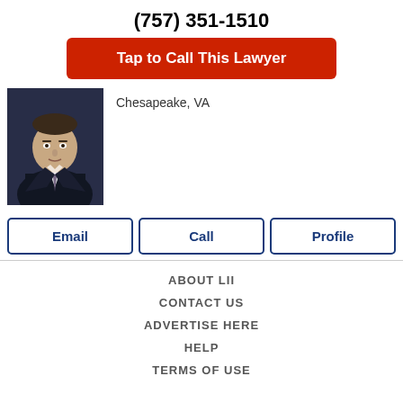(757) 351-1510
Tap to Call This Lawyer
[Figure (photo): Headshot of a male lawyer in a dark suit and tie]
Chesapeake, VA
Email
Call
Profile
ABOUT LII
CONTACT US
ADVERTISE HERE
HELP
TERMS OF USE
[Figure (logo): LII logo with brackets [LII]]